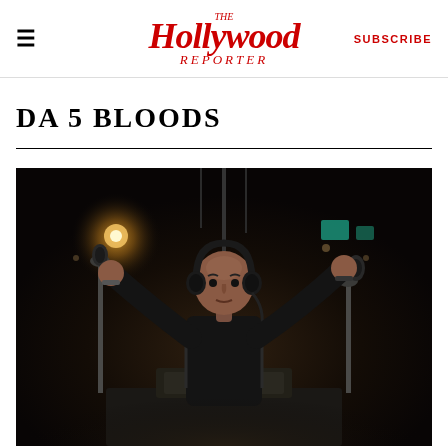THE Hollywood REPORTER | SUBSCRIBE
DA 5 BLOODS
[Figure (photo): A man wearing headphones and a black outfit stands with both arms raised wide in a recording studio, surrounded by microphone stands and audio equipment. Dramatic studio lighting illuminates the scene.]